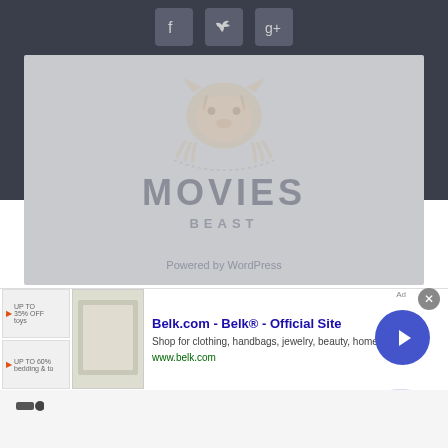[Figure (logo): Social media icons: Facebook, Twitter, Google+ shown in dark rounded square buttons on dark background]
[Figure (logo): Movies Beast logo with tiger illustration, text MOVIES BEAST, shown on grey background with 'Powered by WordPress' text below]
[Figure (screenshot): Belk.com advertisement banner showing clothing/bedding image, title 'Belk.com - Belk® - Official Site', description 'Shop for clothing, handbags, jewelry, beauty, home & more!', URL www.belk.com, with navigation arrow button]